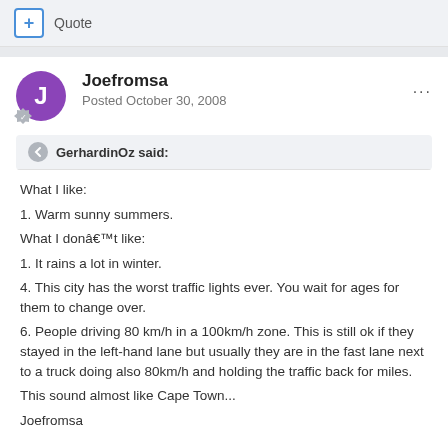+ Quote
Joefromsa
Posted October 30, 2008
GerhardinOz said:
What I like:
1. Warm sunny summers.
What I donâ€™t like:
1. It rains a lot in winter.
4. This city has the worst traffic lights ever. You wait for ages for them to change over.
6. People driving 80 km/h in a 100km/h zone. This is still ok if they stayed in the left-hand lane but usually they are in the fast lane next to a truck doing also 80km/h and holding the traffic back for miles.
This sound almost like Cape Town...
Joefromsa